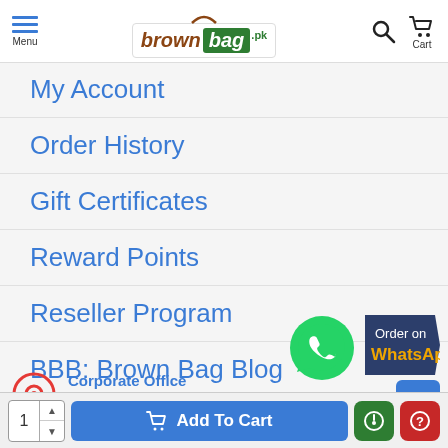brownbag.pk — Menu | Cart
My Account
Order History
Gift Certificates
Reward Points
Reseller Program
BBB: Brown Bag Blog
[Figure (logo): Order on WhatsApp button with green WhatsApp icon]
Corporate Office
Brown Bag (Pvt) Limited
Near DHQ , Service Road,
Lodhran 59320. Punjab , Pakistan
1 Add To Cart